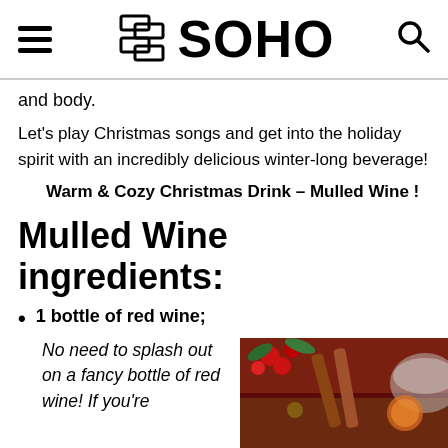SOHO
and body.
Let's play Christmas songs and get into the holiday spirit with an incredibly delicious winter-long beverage!
Warm & Cozy Christmas Drink – Mulled Wine !
Mulled Wine ingredients:
1 bottle of red wine;
No need to splash out on a fancy bottle of red wine! If you're
[Figure (photo): Close-up photo of mulled wine with cinnamon sticks, cranberries, and festive ingredients]